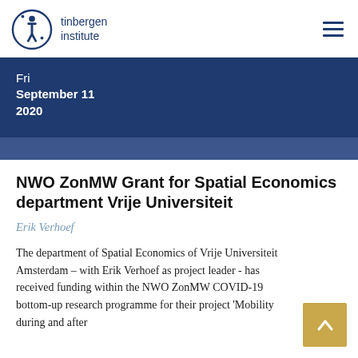tinbergen institute
Fri
September 11
2020
NWO ZonMW Grant for Spatial Economics department Vrije Universiteit
Erik Verhoef
The department of Spatial Economics of Vrije Universiteit Amsterdam – with Erik Verhoef as project leader - has received funding within the NWO ZonMW COVID-19 bottom-up research programme for their project 'Mobility during and after…'